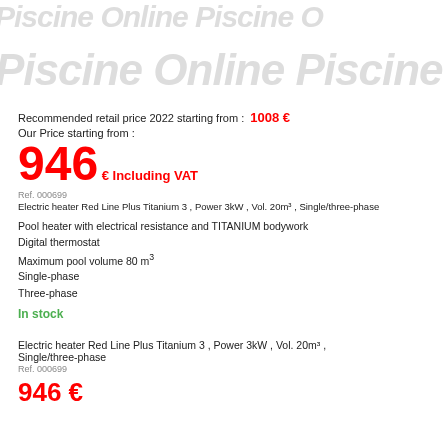[Figure (other): Watermark/background text repeating 'Piscine Online' in light grey, with a small product image top-left]
Recommended retail price 2022 starting from :  1008 €
Our Price starting from :
946 € Including VAT
Ref. 000699
Electric heater Red Line Plus Titanium 3 , Power 3kW , Vol. 20m³ , Single/three-phase
Pool heater with electrical resistance and TITANIUM bodywork
Digital thermostat
Maximum pool volume 80 m³
Single-phase
Three-phase
In stock
Electric heater Red Line Plus Titanium 3 , Power 3kW , Vol. 20m³ , Single/three-phase
Ref. 000699
946 €